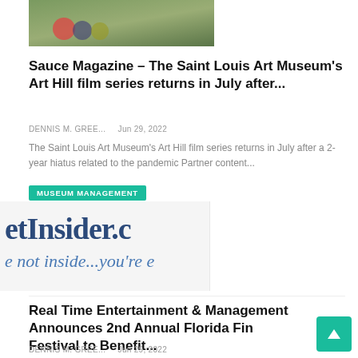[Figure (photo): Partial photo of people sitting on grass, cropped at top of page]
Sauce Magazine – The Saint Louis Art Museum's Art Hill film series returns in July after...
DENNIS M. GREE...   Jun 29, 2022
The Saint Louis Art Museum's Art Hill film series returns in July after a 2-year hiatus related to the pandemic Partner content...
MUSEUM MANAGEMENT
[Figure (screenshot): Partial screenshot of eetInsider.com website showing logo text 'eetInsider.c' and tagline 'e not inside...you're']
Real Time Entertainment & Management Announces 2nd Annual Florida Fin Festival to Benefit...
DENNIS M. GREE...   Jun 29, 2022